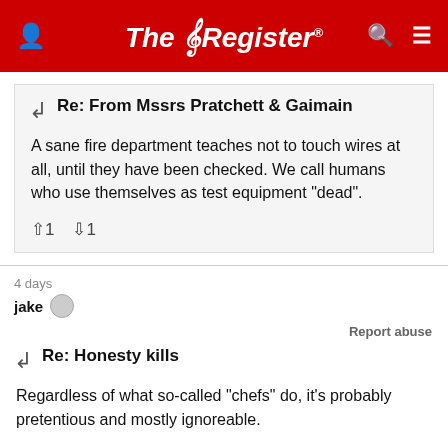The Register
Re: From Mssrs Pratchett & Gaimain
A sane fire department teaches not to touch wires at all, until they have been checked. We call humans who use themselves as test equipment "dead".
↑1  ↓1
4 days
jake
Report abuse
Re: Honesty kills
Regardless of what so-called "chefs" do, it's probably pretentious and mostly ignoreable.
Doesn't matter what PE calls it, it is just a handle for that particular column. They could call it "The Back Stairs" for no reason other than editor's whim.